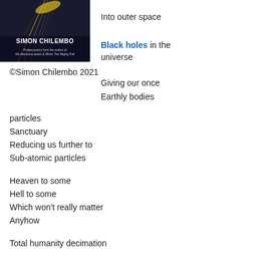[Figure (photo): Book cover of Simon Chilembo protest poetry book. Dark background with light streaks, bold white text 'SIMON CHILEMBO' and subtitle 'Protest poetry from the author of the Machona series & When The Mighty Fall'.]
©Simon Chilembo 2021
Into outer space
Black holes in the universe
Giving our once
Earthly bodies
particles
Sanctuary
Reducing us further to
Sub-atomic particles
Heaven to some
Hell to some
Which won't really matter
Anyhow
Total humanity decimation